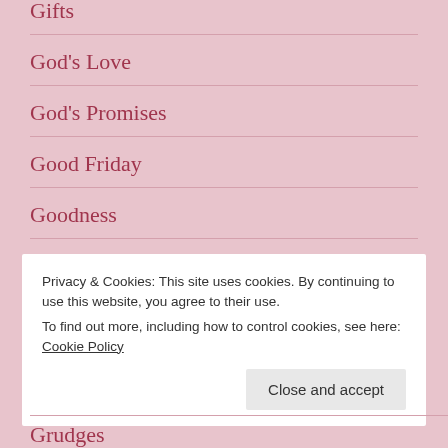Gifts
God's Love
God's Promises
Good Friday
Goodness
GPS
Privacy & Cookies: This site uses cookies. By continuing to use this website, you agree to their use.
To find out more, including how to control cookies, see here: Cookie Policy
Grudges